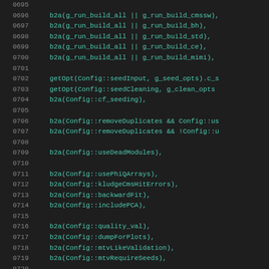[Figure (screenshot): Source code listing with line numbers 0695-0724, showing C++ code with function calls like b2a(), getOpt(), and Config:: namespace references. Dark background with cyan/teal colored text.]